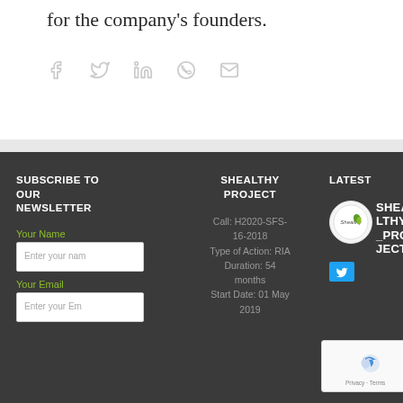for the company's founders.
[Figure (infographic): Social sharing icons: Facebook, Twitter, LinkedIn, WhatsApp, Email — displayed in light gray]
SUBSCRIBE TO OUR NEWSLETTER
SHEALTHY PROJECT
LATEST
Your Name
Enter your name
Your Email
Enter your Email
Call: H2020-SFS-16-2018
Type of Action: RIA
Duration: 54 months
Start Date: 01 May 2019
SHEALTHY_PROJECT
[Figure (logo): Shealthy logo — circular white badge with 'Shealthy' text and green leaf icon]
[Figure (other): reCAPTCHA widget with Privacy and Terms links]